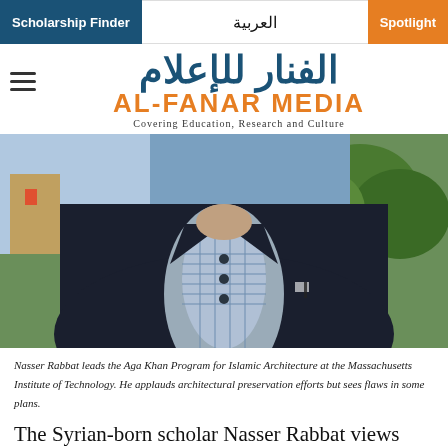Scholarship Finder | العربية | Spotlight
الفنار للإعلام
AL-FANAR MEDIA
Covering Education, Research and Culture
[Figure (photo): Headless torso of a man in dark suit jacket over gray vest and plaid shirt, standing outdoors with trees in background]
Nasser Rabbat leads the Aga Khan Program for Islamic Architecture at the Massachusetts Institute of Technology. He applauds architectural preservation efforts but sees flaws in some plans.
The Syrian-born scholar Nasser Rabbat views